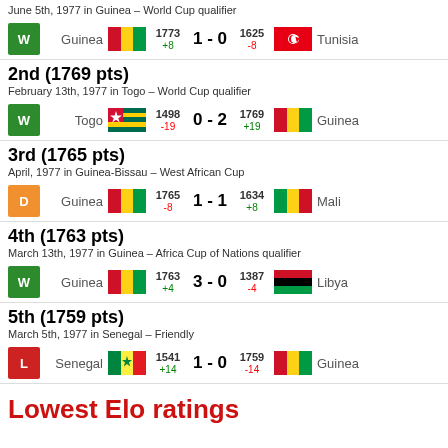June 5th, 1977 in Guinea – World Cup qualifier
| Result | Home | Flag | Elo | Score | Elo | Flag | Away |
| --- | --- | --- | --- | --- | --- | --- | --- |
| W | Guinea | 🇬🇳 | 1773 +8 | 1 - 0 | 1625 -8 | 🇹🇳 | Tunisia |
2nd (1769 pts)
February 13th, 1977 in Togo – World Cup qualifier
| Result | Home | Flag | Elo | Score | Elo | Flag | Away |
| --- | --- | --- | --- | --- | --- | --- | --- |
| W | Togo | 🇹🇬 | 1498 -19 | 0 - 2 | 1769 +19 | 🇬🇳 | Guinea |
3rd (1765 pts)
April, 1977 in Guinea-Bissau – West African Cup
| Result | Home | Flag | Elo | Score | Elo | Flag | Away |
| --- | --- | --- | --- | --- | --- | --- | --- |
| D | Guinea | 🇬🇳 | 1765 -8 | 1 - 1 | 1634 +8 | 🇲🇱 | Mali |
4th (1763 pts)
March 13th, 1977 in Guinea – Africa Cup of Nations qualifier
| Result | Home | Flag | Elo | Score | Elo | Flag | Away |
| --- | --- | --- | --- | --- | --- | --- | --- |
| W | Guinea | 🇬🇳 | 1763 +4 | 3 - 0 | 1387 -4 | 🇱🇾 | Libya |
5th (1759 pts)
March 5th, 1977 in Senegal – Friendly
| Result | Home | Flag | Elo | Score | Elo | Flag | Away |
| --- | --- | --- | --- | --- | --- | --- | --- |
| L | Senegal | 🇸🇳 | 1541 +14 | 1 - 0 | 1759 -14 | 🇬🇳 | Guinea |
Lowest Elo ratings